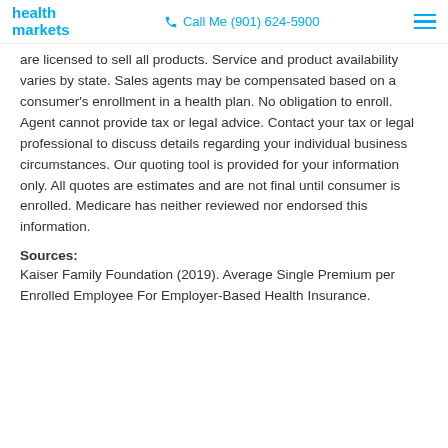health markets | Call Me (901) 624-5900
are licensed to sell all products. Service and product availability varies by state. Sales agents may be compensated based on a consumer’s enrollment in a health plan. No obligation to enroll. Agent cannot provide tax or legal advice. Contact your tax or legal professional to discuss details regarding your individual business circumstances. Our quoting tool is provided for your information only. All quotes are estimates and are not final until consumer is enrolled. Medicare has neither reviewed nor endorsed this information.
Sources:
Kaiser Family Foundation (2019). Average Single Premium per Enrolled Employee For Employer-Based Health Insurance.